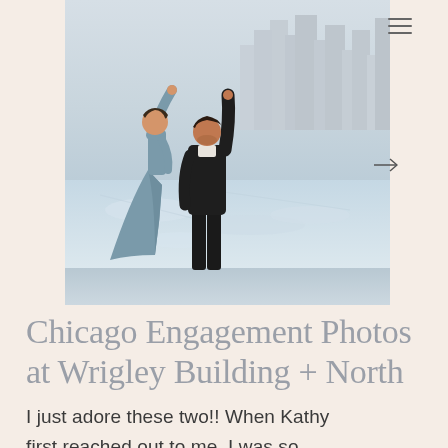[Figure (photo): Couple dancing on a lakefront beach with Chicago skyline in the background. Woman in long blue-grey dress being spun by man in black outfit. Icy lake and city skyscrapers visible.]
Chicago Engagement Photos at Wrigley Building + North
I just adore these two!! When Kathy first reached out to me, I was so excited to talk with her! I could tell